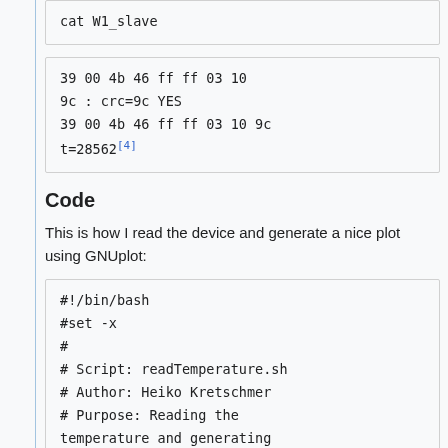cat W1_slave
39 00 4b 46 ff ff 03 10 9c : crc=9c YES
39 00 4b 46 ff ff 03 10 9c t=28562[4]
Code
This is how I read the device and generate a nice plot using GNUplot:
#!/bin/bash
#set -x
#
# Script: readTemperature.sh
# Author: Heiko Kretschmer
# Purpose: Reading the temperature and generating a nice plot
#